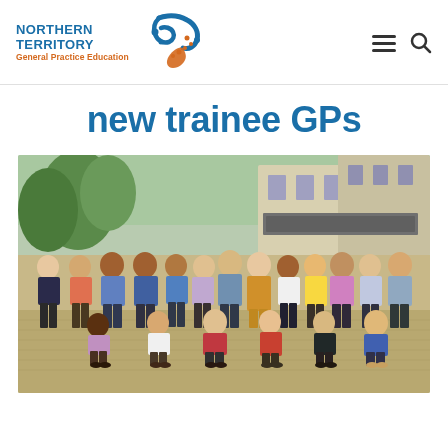[Figure (logo): Northern Territory General Practice Education logo with stylised circular indigenous art motif in blue and orange, alongside text 'NORTHERN TERRITORY General Practice Education']
new trainee GPs
[Figure (photo): Group photo of approximately 25 new trainee GPs standing and kneeling in two rows outdoors in front of a building with tropical vegetation. Photo taken in a courtyard setting.]